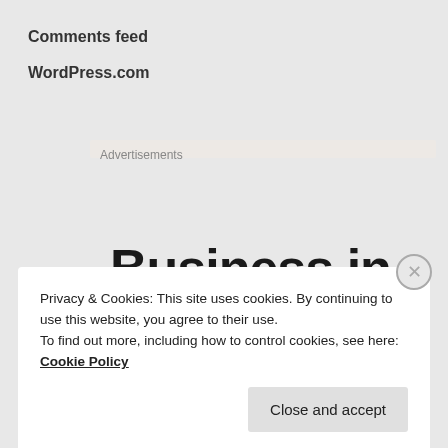Comments feed
WordPress.com
Advertisements
Business in the front...
Privacy & Cookies: This site uses cookies. By continuing to use this website, you agree to their use.
To find out more, including how to control cookies, see here: Cookie Policy
Close and accept